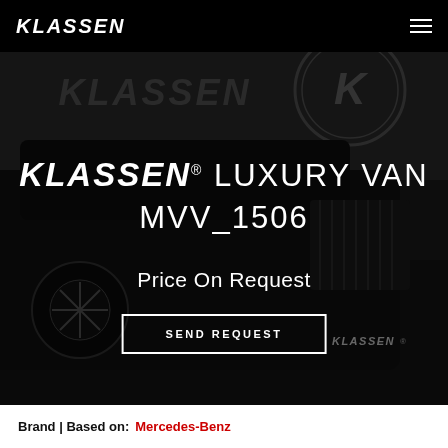KLASSEN
[Figure (photo): Dark luxury Mercedes-Benz van parked in front of a KLASSEN showroom wall, with the KLASSEN K logo emblem visible in the upper right. The vehicle is black and photographed at a three-quarter front angle.]
KLASSEN® LUXURY VAN MVV_1506
Price On Request
SEND REQUEST
Brand | Based on:  Mercedes-Benz